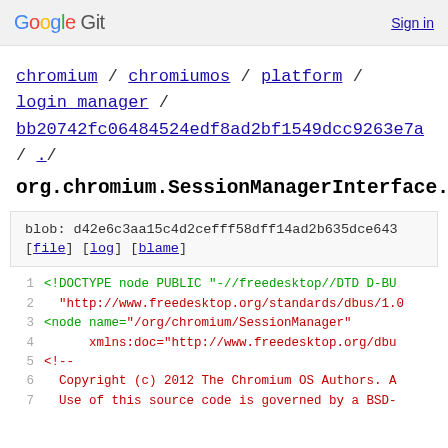Google Git  Sign in
chromium / chromiumos / platform / login_manager / bb20742fc06484524edf8ad2bf1549dcc9263e7a / ./
org.chromium.SessionManagerInterface.xml
blob: d42e6c3aa15c4d2cefff58dff14ad2b635dce643
[file] [log] [blame]
1  <!DOCTYPE node PUBLIC "-//freedesktop//DTD D-BU
2  "http://www.freedesktop.org/standards/dbus/1.0
3  <node name="/org/chromium/SessionManager"
4       xmlns:doc="http://www.freedesktop.org/dbu
5  <!--
6    Copyright (c) 2012 The Chromium OS Authors. A
7    Use of this source code is governed by a BSD-